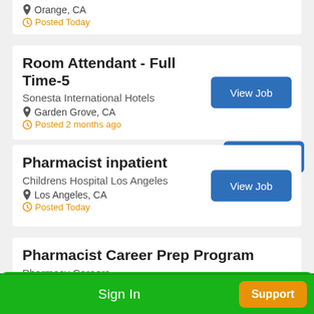Orange, CA
Posted Today
Room Attendant - Full Time-5
Sonesta International Hotels
Garden Grove, CA
Posted 2 months ago
Pharmacist inpatient
Childrens Hospital Los Angeles
Los Angeles, CA
Posted Today
Pharmacist Career Prep Program
Pharmacy Careers
Sign In
Support